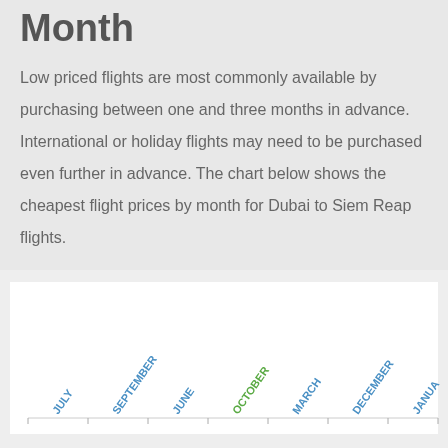Month
Low priced flights are most commonly available by purchasing between one and three months in advance. International or holiday flights may need to be purchased even further in advance. The chart below shows the cheapest flight prices by month for Dubai to Siem Reap flights.
[Figure (bar-chart): Bar chart showing cheapest flight prices by month for Dubai to Siem Reap, with month labels shown at an angle along the x-axis. October is highlighted in green, others in blue.]